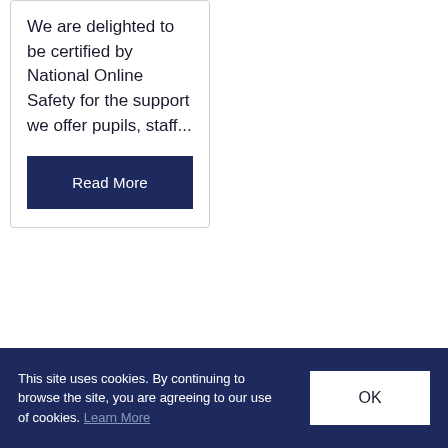We are delighted to be certified by National Online Safety for the support we offer pupils, staff...
Read More
This site uses cookies. By continuing to browse the site, you are agreeing to our use of cookies. Learn More
OK